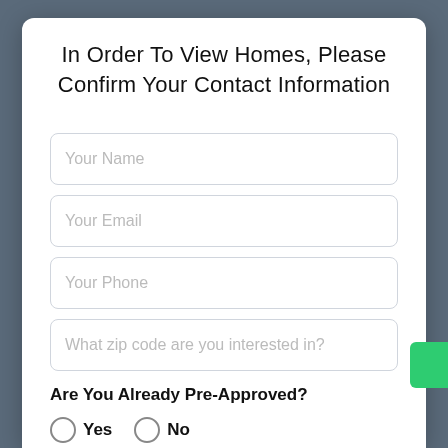In Order To View Homes, Please Confirm Your Contact Information
Your Name
Your Email
Your Phone
What zip code are you interested in?
Are You Already Pre-Approved?
Yes
No